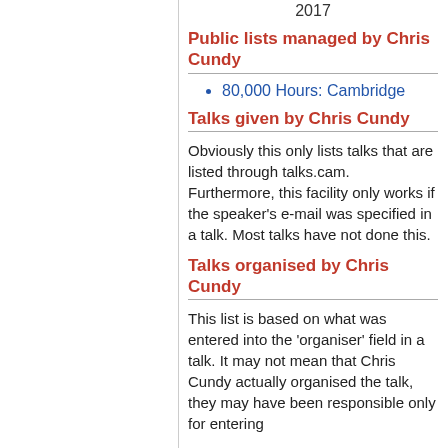2017
Public lists managed by Chris Cundy
80,000 Hours: Cambridge
Talks given by Chris Cundy
Obviously this only lists talks that are listed through talks.cam. Furthermore, this facility only works if the speaker's e-mail was specified in a talk. Most talks have not done this.
Talks organised by Chris Cundy
This list is based on what was entered into the 'organiser' field in a talk. It may not mean that Chris Cundy actually organised the talk, they may have been responsible only for entering